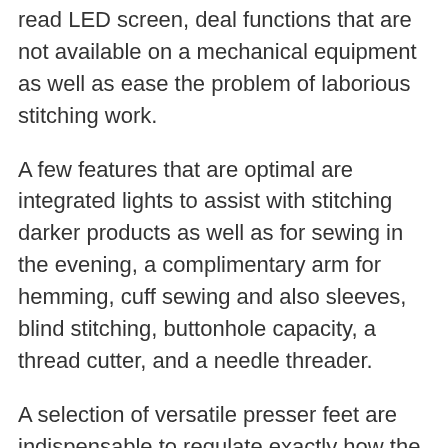read LED screen, deal functions that are not available on a mechanical equipment as well as ease the problem of laborious stitching work.
A few features that are optimal are integrated lights to assist with stitching darker products as well as for sewing in the evening, a complimentary arm for hemming, cuff sewing and also sleeves, blind stitching, buttonhole capacity, a thread cutter, and a needle threader.
A selection of versatile presser feet are indispensable to regulate exactly how the fabric is being held as well as moving as you are stitching to prevent puckering and also undesirable stretching of knit